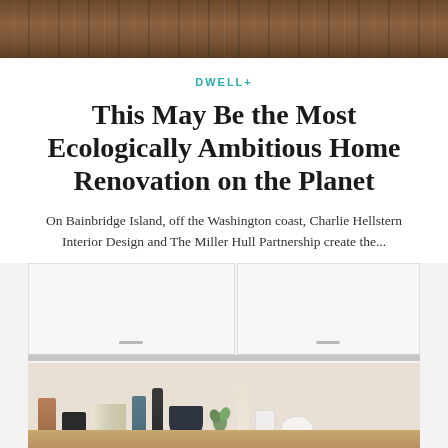[Figure (photo): Top portion of a wood deck/floor shown in warm brown tones, cropped at the top of the page]
DWELL+
This May Be the Most Ecologically Ambitious Home Renovation on the Planet
On Bainbridge Island, off the Washington coast, Charlie Hellstern Interior Design and The Miller Hull Partnership create the...
Melissa Dalton
[Figure (photo): Kitchen interior showing white upper cabinets, open shelving with decorative items including vases, bowls, dishes, books, and plants on a warm wood shelf surface]